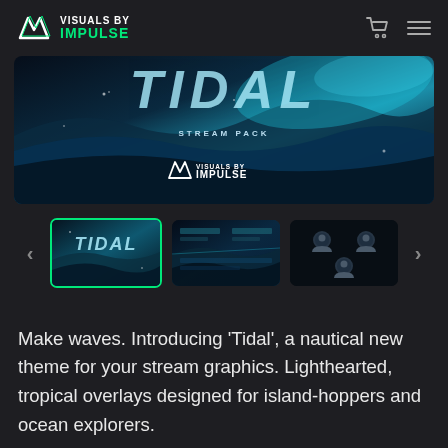VISUALS BY IMPULSE
[Figure (illustration): Tidal Stream Pack banner image with ocean waves, large 'TIDAL' text, 'STREAM PACK' subtitle, and Visuals by Impulse logo]
[Figure (screenshot): Carousel of three product thumbnails: active Tidal thumbnail with green border, two more thumbnails showing stream overlay and avatar icons]
Make waves. Introducing 'Tidal', a nautical new theme for your stream graphics. Lighthearted, tropical overlays designed for island-hoppers and ocean explorers.